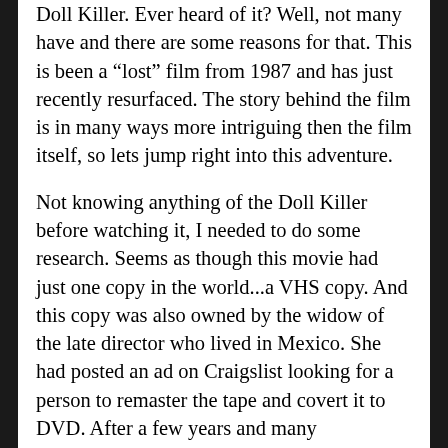Doll Killer. Ever heard of it? Well, not many have and there are some reasons for that. This is been a “lost” film from 1987 and has just recently resurfaced. The story behind the film is in many ways more intriguing then the film itself, so lets jump right into this adventure.
Not knowing anything of the Doll Killer before watching it, I needed to do some research. Seems as though this movie had just one copy in the world...a VHS copy. And this copy was also owned by the widow of the late director who lived in Mexico. She had posted an ad on Craigslist looking for a person to remaster the tape and covert it to DVD. After a few years and many unanswered emails, filmmaker, Dustin Ferguson, finally made contact with the owner of the tape. After a few difficulties, he was able to take possession of the film and eventually showed the world, Doll Killer.
On the film disc...